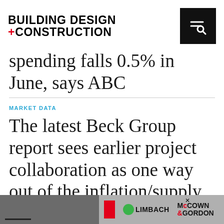BUILDING DESIGN +CONSTRUCTION
spending falls 0.5% in June, says ABC
MARKET DATA
The latest Beck Group report sees earlier project collaboration as one way out of the inflation/supply chain malaise
[Figure (other): Advertisement banner at the bottom showing Limbach and McCown Gordon logos with a close button]